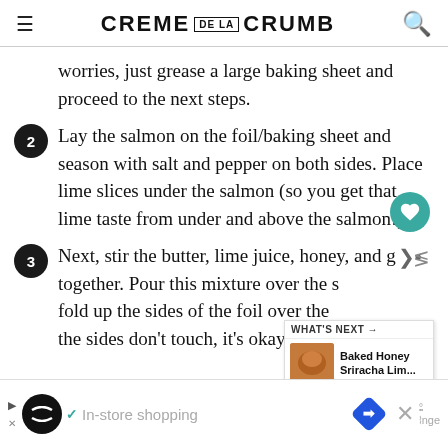CREME DE LA CRUMB
worries, just grease a large baking sheet and proceed to the next steps.
2 Lay the salmon on the foil/baking sheet and season with salt and pepper on both sides. Place lime slices under the salmon (so you get that lime taste from under and above the salmon!).
3 Next, stir the butter, lime juice, honey, and g together. Pour this mixture over the salmon and fold up the sides of the foil over the s the sides don't touch, it's okay.
[Figure (screenshot): Advertisement bar at bottom with in-store shopping icons and an overlay showing 'WHAT'S NEXT - Baked Honey Sriracha Lim...']